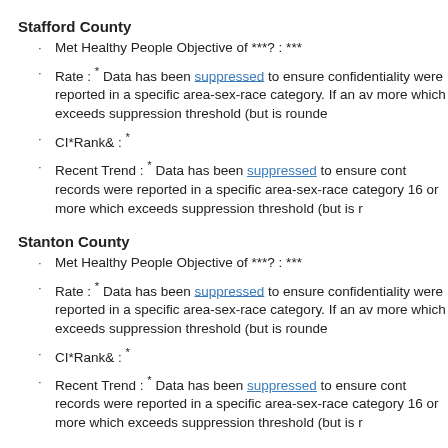Stafford County
Met Healthy People Objective of ***? : ***
Rate : * Data has been suppressed to ensure confidentiality were reported in a specific area-sex-race category. If an av more which exceeds suppression threshold (but is rounde
CI*Rank⋄ : *
Recent Trend : * Data has been suppressed to ensure cont records were reported in a specific area-sex-race category 16 or more which exceeds suppression threshold (but is r
Stanton County
Met Healthy People Objective of ***? : ***
Rate : * Data has been suppressed to ensure confidentiality were reported in a specific area-sex-race category. If an av more which exceeds suppression threshold (but is rounde
CI*Rank⋄ : *
Recent Trend : * Data has been suppressed to ensure cont records were reported in a specific area-sex-race category 16 or more which exceeds suppression threshold (but is r
Stevens County
Met Healthy People Objective of ***? : ***